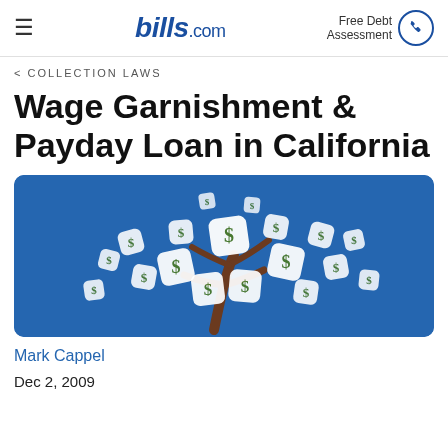bills.com | Free Debt Assessment
< COLLECTION LAWS
Wage Garnishment & Payday Loan in California
[Figure (illustration): Illustration of a money tree with white dollar-sign bags as leaves on a blue background]
Mark Cappel
Dec 2, 2009